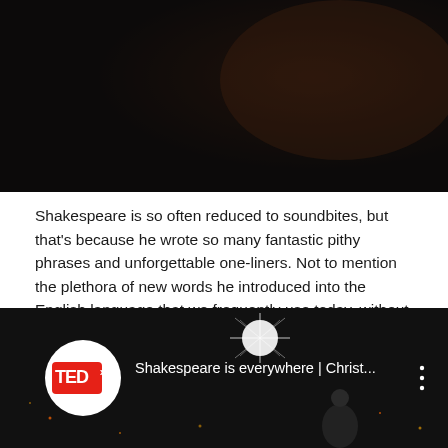[Figure (photo): Dark background image at top of page, appears to be a dimly lit scene with reddish-brown tones]
Shakespeare is so often reduced to soundbites, but that's because he wrote so many fantastic pithy phrases and unforgettable one-liners. Not to mention the plethora of new words he introduced into the English language that we frequently use today, without realising their origin.
When it came to phrase-making, he was second to none! (Also one of his).
[Figure (screenshot): TEDx YouTube video thumbnail showing 'Shakespeare is everywhere | Christ...' with a speaker on a dark stage with star-like lights]